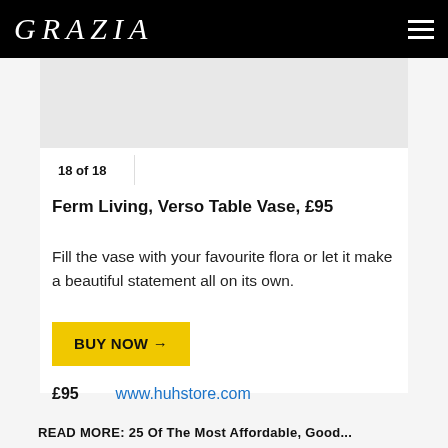GRAZIA
18 of 18
Ferm Living, Verso Table Vase, £95
Fill the vase with your favourite flora or let it make a beautiful statement all on its own.
BUY NOW →
£95   www.huhstore.com
READ MORE: 25 Of The Most Affordable, Good...